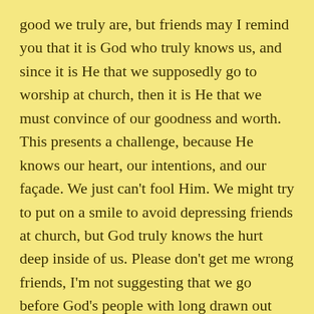good we truly are, but friends may I remind you that it is God who truly knows us, and since it is He that we supposedly go to worship at church, then it is He that we must convince of our goodness and worth. This presents a challenge, because He knows our heart, our intentions, and our façade. We just can't fool Him. We might try to put on a smile to avoid depressing friends at church, but God truly knows the hurt deep inside of us. Please don't get me wrong friends, I'm not suggesting that we go before God's people with long drawn out faces when it seems like life is unfair. But as I share the Word of God with you, I believe you will reflect on His goodness; the assurance of His presence; the comfort of His touch on your life; and the worthiness of His honor – for which you will burst forth in praise and adoration, in spite of life's